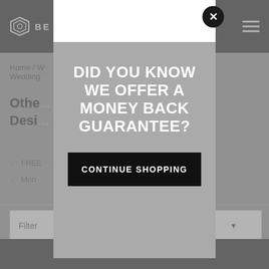BE [logo nav bar]
Home / W... nd Wedding /
Othe... Design...
✓ FREE...
✓ Mon...
[Figure (screenshot): Modal popup overlay on a jewelry/wedding website. A white top strip with a dark close button (×), followed by a gray modal body containing white bold uppercase text: 'DID YOU KNOW WE OFFER A MONEY BACK GUARANTEE?' and a black button labeled 'CONTINUE SHOPPING'.]
DID YOU KNOW WE OFFER A MONEY BACK GUARANTEE?
CONTINUE SHOPPING
Filter